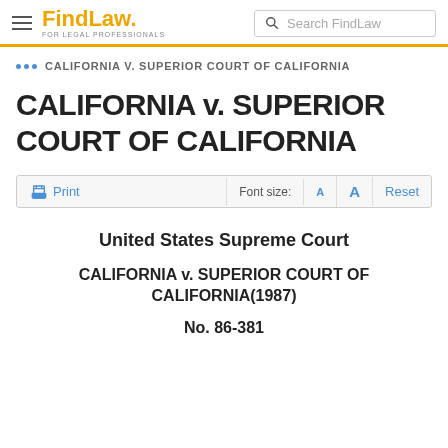FindLaw FOR LEGAL PROFESSIONALS — Search FindLaw
CALIFORNIA V. SUPERIOR COURT OF CALIFORNIA
CALIFORNIA v. SUPERIOR COURT OF CALIFORNIA
Print  Font size: A A Reset
United States Supreme Court
CALIFORNIA v. SUPERIOR COURT OF CALIFORNIA(1987)
No. 86-381